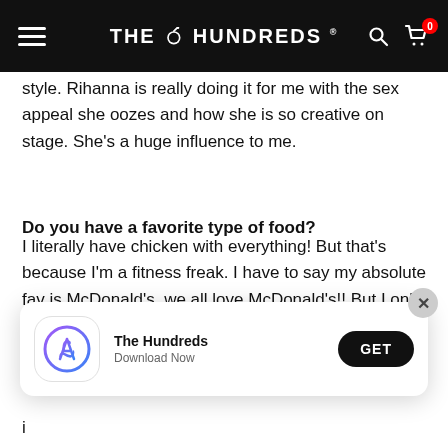THE HUNDREDS
style. Rihanna is really doing it for me with the sex appeal she oozes and how she is so creative on stage. She's a huge influence to me.
Do you have a favorite type of food?
I literally have chicken with everything! But that's because I'm a fitness freak. I have to say my absolute fav is McDonald's, we all love McDonald's!! But I only indulge once in a while!
[Figure (screenshot): App install banner for The Hundreds with App Store icon, 'The Hundreds' name, 'Download Now' subtitle, and a black GET button. A grey X close button appears top right.]
i